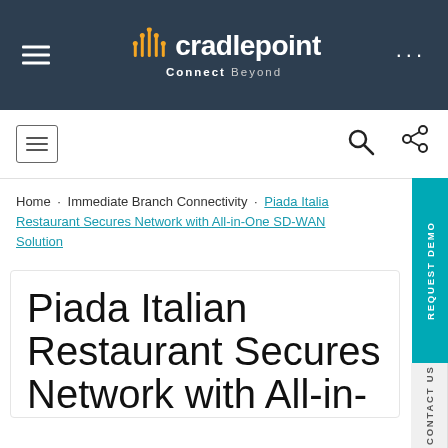[Figure (logo): Cradlepoint logo with antenna/signal icon and tagline 'Connect Beyond' on dark navy background header]
Home · Immediate Branch Connectivity · Piada Italian Restaurant Secures Network with All-in-One SD-WAN Solution
Piada Italian Restaurant Secures Network with All-in-